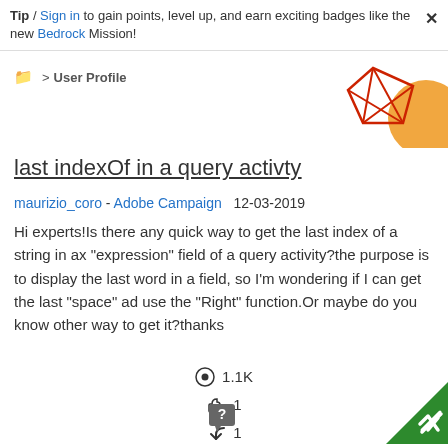Tip / Sign in to gain points, level up, and earn exciting badges like the new Bedrock Mission!
📁 > User Profile
[Figure (illustration): Decorative geometric shapes: red wire-frame diamond and orange circle in top-right corner]
last indexOf in a query activty
maurizio_coro - Adobe Campaign  12-03-2019
Hi experts!Is there any quick way to get the last index of a string in ax "expression" field of a query activity?the purpose is to display the last word in a field, so I'm wondering if I can get the last "space" ad use the "Right" function.Or maybe do you know other way to get it?thanks
👁 1.1K
👍 1
↩ 1
[Figure (illustration): Green triangle checkmark in bottom-right corner]
[Figure (illustration): Help/question mark chat bubble icon at bottom center]